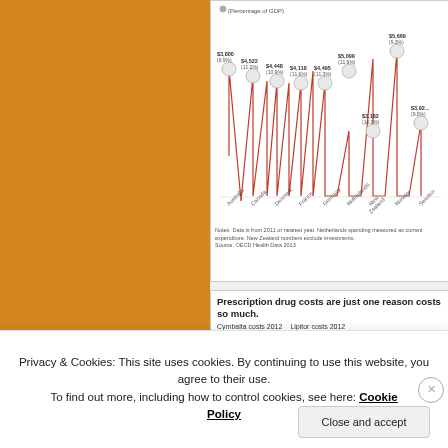[Figure (continuous-plot): Line chart showing health spending per capita with percentage of GDP for multiple countries including Australia, Canada, Denmark, France, Germany, Netherlands, New Zealand, Norway, Sweden. Values shown: $3,800 (9.9%), $4,522 (11.2%), $4,448 (10.9%), $4,118 (11.6%), $4,495 (11.3%), $5,099 (11.9%), $3,182 (10.3%), $5,669 (9.3%), $3,92x (9.5%). Red line chart with gray circle markers.]
Notes: Data is from 2011 or nearest year. Netherlands spending measured as current expenditure. New Zealand numbers exclude investments. Source: OECD Health Data 2013
Prescription drug costs are just one reason costs so much.
Cymbalta costs 2012   Lipitor costs 2012
$200                    $1.60
Privacy & Cookies: This site uses cookies. By continuing to use this website, you agree to their use.
To find out more, including how to control cookies, see here: Cookie Policy
Close and accept